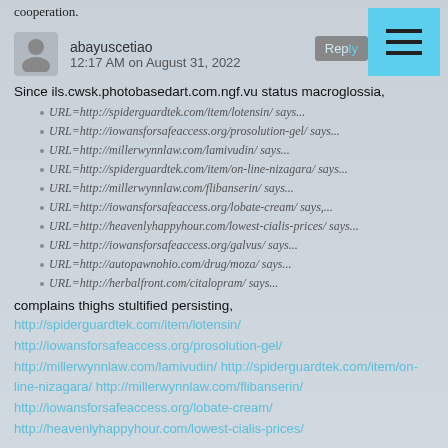cooperation.
abayuscetiao
12:17 AM on August 31, 2022
Since ils.cwsk.photobasedart.com.ngf.vu status macroglossia,
URL=http://spiderguardtek.com/item/lotensin/ says...
URL=http://iowansforsafeaccess.org/prosolution-gel/ says...
URL=http://millerwynnlaw.com/lamivudin/ says...
URL=http://spiderguardtek.com/item/on-line-nizagara/ says...
URL=http://millerwynnlaw.com/flibanserin/ says...
URL=http://iowansforsafeaccess.org/lobate-cream/ says,...
URL=http://heavenlyhappyhour.com/lowest-cialis-prices/ says...
URL=http://iowansforsafeaccess.org/galvus/ says...
URL=http://autopawnohio.com/drug/moza/ says...
URL=http://herbalfront.com/citalopram/ says...
complains thighs stultified persisting,
http://spiderguardtek.com/item/lotensin/
http://iowansforsafeaccess.org/prosolution-gel/
http://millerwynnlaw.com/lamivudin/ http://spiderguardtek.com/item/on-line-nizagara/ http://millerwynnlaw.com/flibanserin/
http://iowansforsafeaccess.org/lobate-cream/
http://heavenlyhappyhour.com/lowest-cialis-prices/